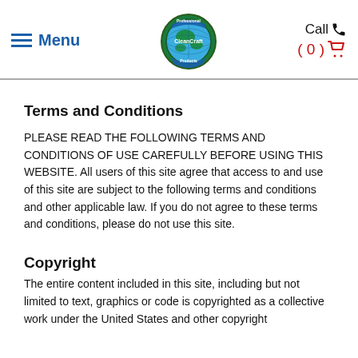Menu | CleanCraft Products Logo | Call (0)
Terms and Conditions
PLEASE READ THE FOLLOWING TERMS AND CONDITIONS OF USE CAREFULLY BEFORE USING THIS WEBSITE. All users of this site agree that access to and use of this site are subject to the following terms and conditions and other applicable law. If you do not agree to these terms and conditions, please do not use this site.
Copyright
The entire content included in this site, including but not limited to text, graphics or code is copyrighted as a collective work under the United States and other copyright